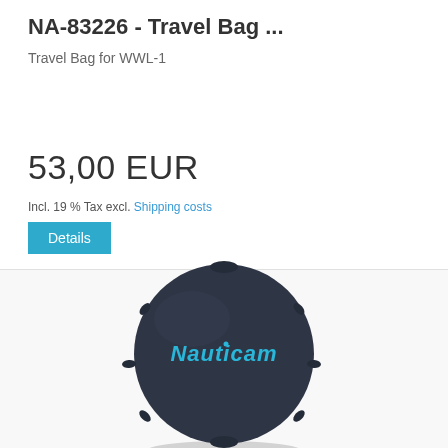NA-83226 - Travel Bag ...
Travel Bag for WWL-1
53,00 EUR
Incl. 19 % Tax excl. Shipping costs
Details
[Figure (photo): Dark navy blue circular neoprene travel bag with Nauticam brand name in light blue text, shown from the front]